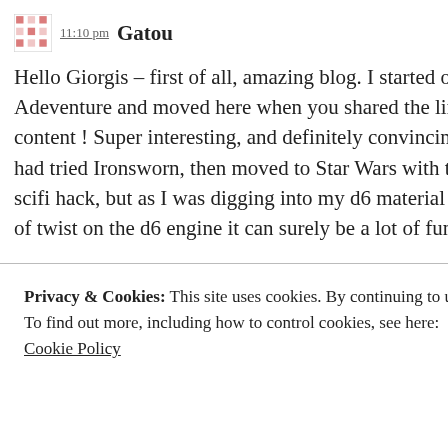11:10 pm Gatou   Reply
Hello Giorgis – first of all, amazing blog. I started on reddit with your SWd6 Solo Adeventure and moved here when you shared the link, oh boy was I glad to see all this content ! Super interesting, and definitely convincing me to try again at solo RPing. I had tried Ironsworn, then moved to Star Wars with the Starforged engine, their official scifi hack, but as I was digging into my d6 material you showed me that with a couple of twist on the d6 engine it can surely be a lot of fun.
As I've started a Harn campaign, using the
Privacy & Cookies: This site uses cookies. By continuing to use this website, you agree to their use.
To find out more, including how to control cookies, see here:
Cookie Policy
Close and accept